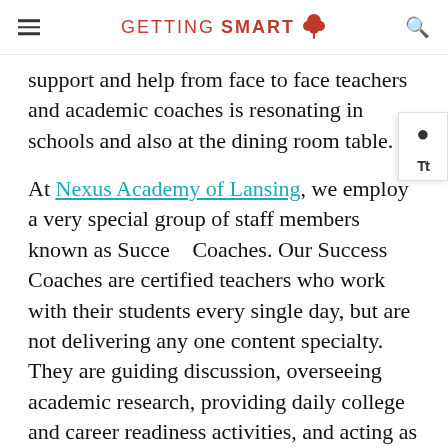GETTING SMART
support and help from face to face teachers and academic coaches is resonating in schools and also at the dining room table.
At Nexus Academy of Lansing, we employ a very special group of staff members known as Success Coaches. Our Success Coaches are certified teachers who work with their students every single day, but are not delivering any one content specialty. They are guiding discussion, overseeing academic research, providing daily college and career readiness activities, and acting as each student's go to mentor and advocate.